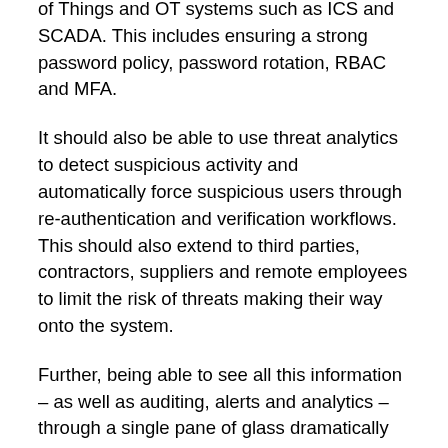of Things and OT systems such as ICS and SCADA. This includes ensuring a strong password policy, password rotation, RBAC and MFA.
It should also be able to use threat analytics to detect suspicious activity and automatically force suspicious users through re-authentication and verification workflows. This should also extend to third parties, contractors, suppliers and remote employees to limit the risk of threats making their way onto the system.
Further, being able to see all this information – as well as auditing, alerts and analytics – through a single pane of glass dramatically reduces the risks and complexity of monitoring activity across systems. It also facilitates proving compliance and providing information to authorities during a cyberattack. This could be instrumental in avoiding costly government interventions.